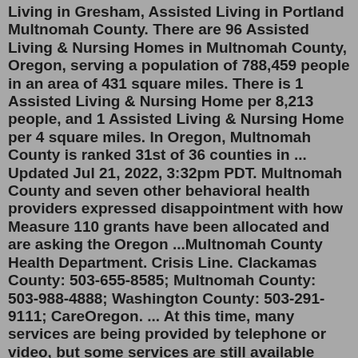Living in Gresham, Assisted Living in Portland Multnomah County. There are 96 Assisted Living & Nursing Homes in Multnomah County, Oregon, serving a population of 788,459 people in an area of 431 square miles. There is 1 Assisted Living & Nursing Home per 8,213 people, and 1 Assisted Living & Nursing Home per 4 square miles. In Oregon, Multnomah County is ranked 31st of 36 counties in ... Updated Jul 21, 2022, 3:32pm PDT. Multnomah County and seven other behavioral health providers expressed disappointment with how Measure 110 grants have been allocated and are asking the Oregon ...Multnomah County Health Department. Crisis Line. Clackamas County: 503-655-8585; Multnomah County: 503-988-4888; Washington County: 503-291-9111; CareOregon. ... At this time, many services are being provided by telephone or video, but some services are still available face-to-face. Please call the provider to discuss available options or ...